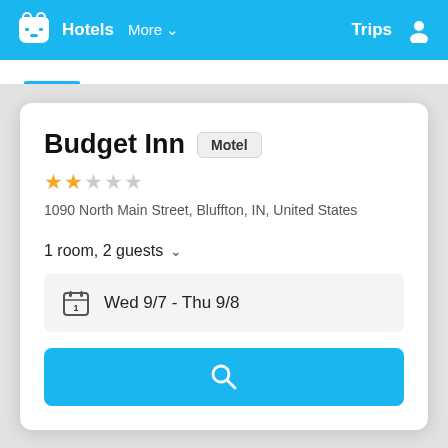Hotels  More  Trips
Budget Inn  Motel
★★☆☆☆
1090 North Main Street, Bluffton, IN, United States
1 room, 2 guests
Wed 9/7 - Thu 9/8
[Figure (other): Search button with magnifying glass icon]